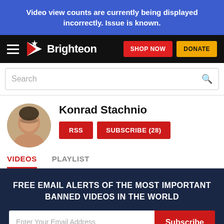Video view counts are currently being displayed incorrectly. Issue is known.
[Figure (logo): Brighteon website navigation bar with hamburger menu, Brighteon logo, SHOP NOW and DONATE buttons]
Search
Konrad Stachnio
RSS
SUBSCRIBE (28)
VIDEOS
PLAYLIST
FREE EMAIL ALERTS OF THE MOST IMPORTANT BANNED VIDEOS IN THE WORLD
Enter Your Email Address
Subscribe
×